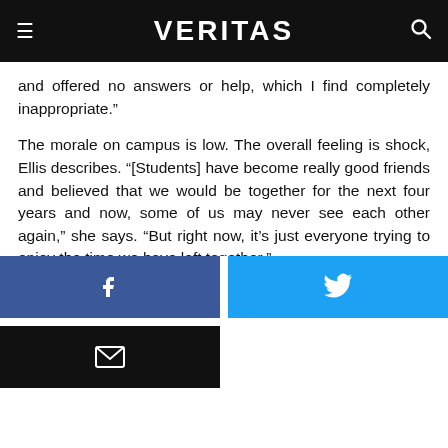VERITAS
and offered no answers or help, which I find completely inappropriate.”
The morale on campus is low. The overall feeling is shock, Ellis describes. “[Students] have become really good friends and believed that we would be together for the next four years and now, some of us may never see each other again,” she says. “But right now, it’s just everyone trying to enjoy the time we have left together.”
[Figure (infographic): Social share buttons: Facebook (blue), Twitter (light blue), Email (black)]